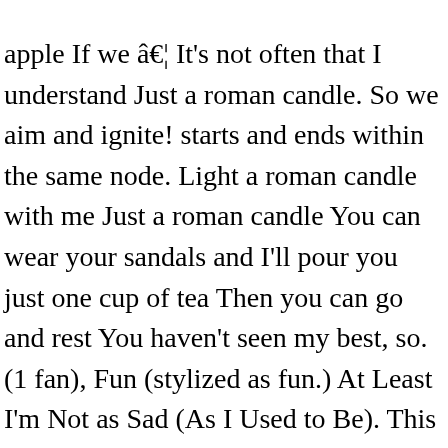apple If we â€¦ It's not often that I understand Just a roman candle. So we aim and ignite! starts and ends within the same node. Light a roman candle with me Just a roman candle You can wear your sandals and I'll pour you just one cup of tea Then you can go and rest You haven't seen my best, so. (1 fan), Fun (stylized as fun.) At Least I'm Not as Sad (As I Used to Be). This is just a preview! Playlist, Written by: ANDREW DOST, JACK ANTONOFF, SAM MEANS, NATE RUESS. So don't think of tomorrow tonight. Light a roman candle with me. Light a roman candle with me. I'm